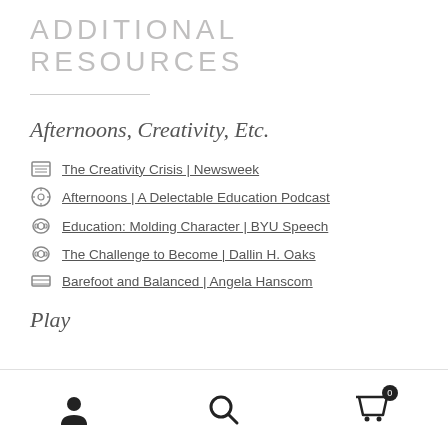ADDITIONAL RESOURCES
Afternoons, Creativity, Etc.
The Creativity Crisis | Newsweek
Afternoons | A Delectable Education Podcast
Education: Molding Character | BYU Speech
The Challenge to Become | Dallin H. Oaks
Barefoot and Balanced | Angela Hanscom
Play